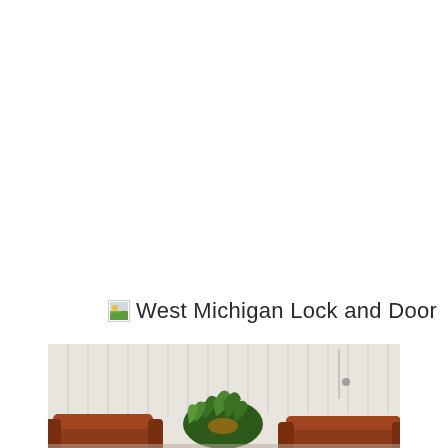[Figure (logo): Small broken image icon placeholder followed by text 'West Michigan Lock and Door']
[Figure (photo): Interior room photo showing white vertical panel wall, a green tropical plant, and brown leather armchairs/sofa in the foreground]